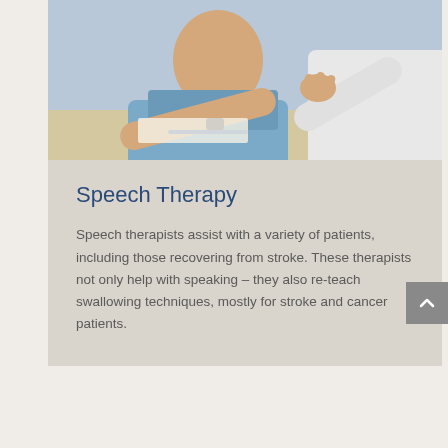[Figure (photo): Two people sitting at a desk having a conversation; one person in a light blue shirt with a watch gesturing with hands, the other in a white coat (medical professional). A pen is visible on the desk.]
Speech Therapy
Speech therapists assist with a variety of patients, including those recovering from stroke. These therapists not only help with speaking – they also re-teach swallowing techniques, mostly for stroke and cancer patients.